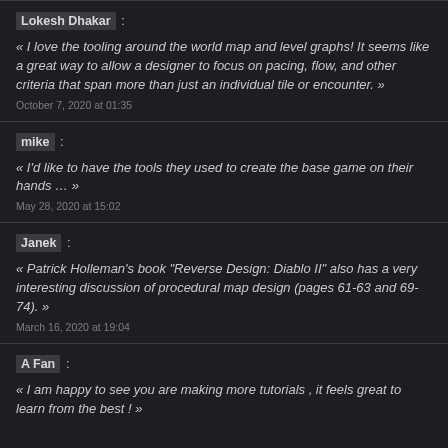Lokesh Dhakar :
« I love the tooling around the world map and level graphs! It seems like a great way to allow a designer to focus on pacing, flow, and other criteria that span more than just an individual tile or encounter. »
October 7, 2020 at 01:35
mike :
« I'd like to have the tools they used to create the base game on their hands … »
May 28, 2020 at 15:02
Janek :
« Patrick Holleman's book "Reverse Design: Diablo II" also has a very interesting discussion of procedural map design (pages 61-63 and 69-74). »
March 16, 2020 at 19:04
A Fan :
« I am happy to see you are making more tutorials , it feels great to learn from the best ! »